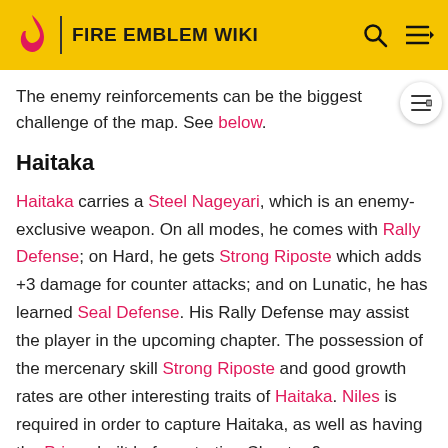FIRE EMBLEM WIKI
The enemy reinforcements can be the biggest challenge of the map. See below.
Haitaka
Haitaka carries a Steel Nageyari, which is an enemy-exclusive weapon. On all modes, he comes with Rally Defense; on Hard, he gets Strong Riposte which adds +3 damage for counter attacks; and on Lunatic, he has learned Seal Defense. His Rally Defense may assist the player in the upcoming chapter. The possession of the mercenary skill Strong Riposte and good growth rates are other interesting traits of Haitaka. Niles is required in order to capture Haitaka, as well as having the Prison built before starting Chapter 9.